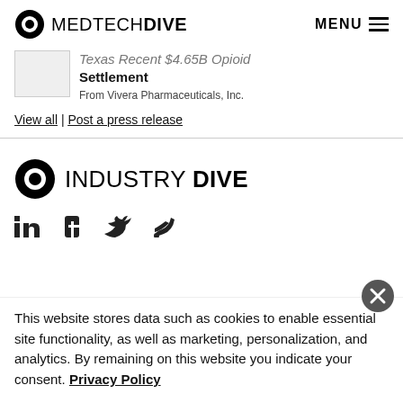MEDTECH DIVE | MENU
Texas Recent $1.65B Opioid Settlement
From Vivera Pharmaceuticals, Inc.
View all | Post a press release
[Figure (logo): Industry Dive logo with circular icon]
[Figure (illustration): Social media icons: LinkedIn, Facebook, Twitter, Feedly]
This website stores data such as cookies to enable essential site functionality, as well as marketing, personalization, and analytics. By remaining on this website you indicate your consent. Privacy Policy